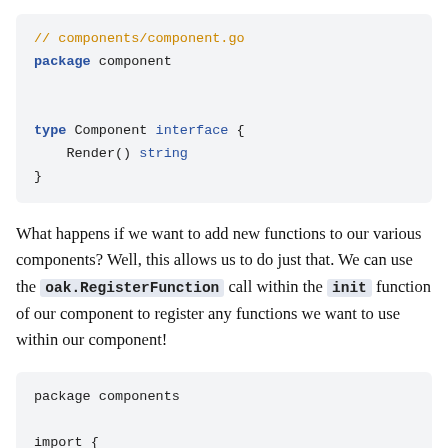[Figure (screenshot): Code block showing Go source file components/component.go defining a Component interface with a Render() string method]
What happens if we want to add new functions to our various components? Well, this allows us to do just that. We can use the oak.RegisterFunction call within the init function of our component to register any functions we want to use within our component!
[Figure (screenshot): Code block showing the beginning of a Go package declaration: package components, followed by import {]